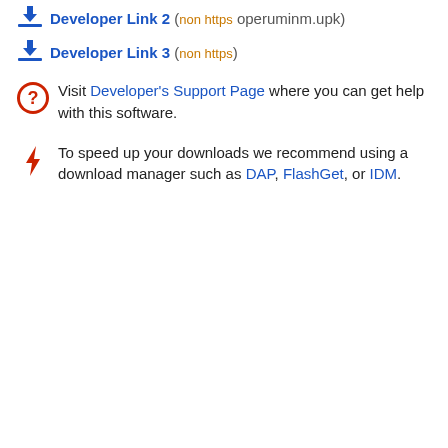Developer Link 2 (non https operuminm.upk)
Developer Link 3 (non https)
Visit Developer's Support Page where you can get help with this software.
To speed up your downloads we recommend using a download manager such as DAP, FlashGet, or IDM.